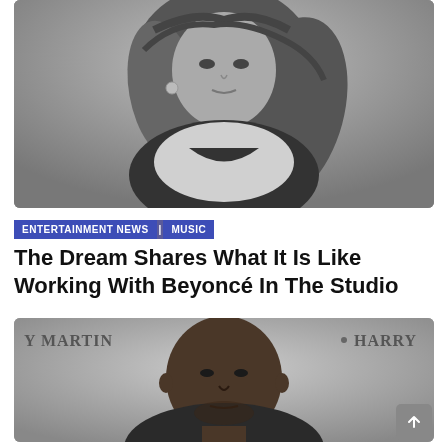[Figure (photo): Black and white portrait photo of Beyoncé with long wavy hair, wearing a low-cut top, looking at camera against a gray background]
ENTERTAINMENT NEWS | MUSIC
The Dream Shares What It Is Like Working With Beyoncé In The Studio
[Figure (photo): Photo of a man (Kanye West) at an event with 'Y MARTIN' and 'HARRY' text visible in the background signage]